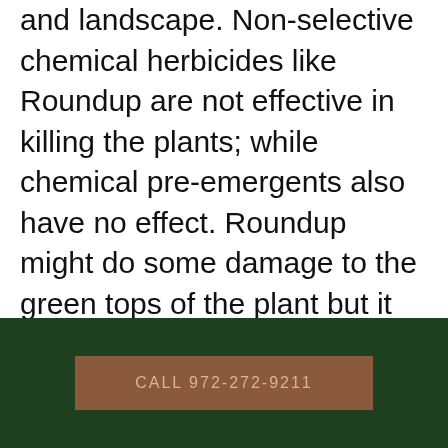and landscape. Non-selective chemical herbicides like Roundup are not effective in killing the plants; while chemical pre-emergents also have no effect. Roundup might do some damage to the green tops of the plant but it won't affect the tubers. There are selective herbicides such as Sedgehammer, but even it does not kill the tubers of mature plants.

The best control for nutsedge? Prevention. Well aerated and fed soil will harbor less nutsedge. If you already have nutsedge, then
CALL 972-272-9211